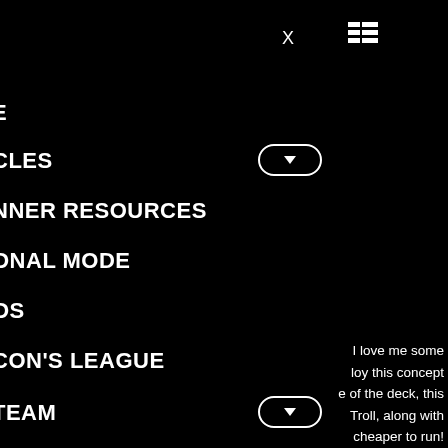X
[Figure (other): Grid/table view toggle icon]
E
CLES
NNER RESOURCES
ONAL MODE
OS
CON'S LEAGUE
TEAM
TACT US
I love me some loy this concept e of the deck, this Troll, along with cheaper to run! been a staple in feels even more